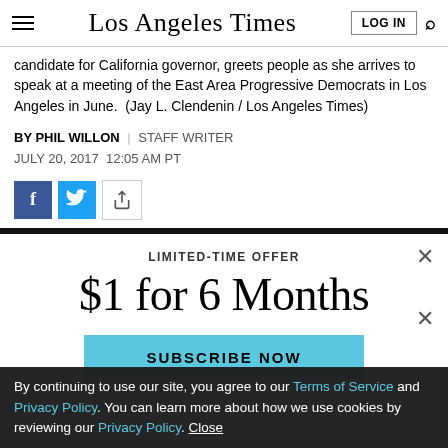Los Angeles Times
candidate for California governor, greets people as she arrives to speak at a meeting of the East Area Progressive Democrats in Los Angeles in June. (Jay L. Clendenin / Los Angeles Times)
BY PHIL WILLON | STAFF WRITER
JULY 20, 2017 12:05 AM PT
[Figure (infographic): Social share buttons: Facebook, Twitter, share icon]
[Figure (infographic): Subscription paywall overlay: LIMITED-TIME OFFER, $1 for 6 Months, SUBSCRIBE NOW button, close X icons]
By continuing to use our site, you agree to our Terms of Service and Privacy Policy. You can learn more about how we use cookies by reviewing our Privacy Policy. Close